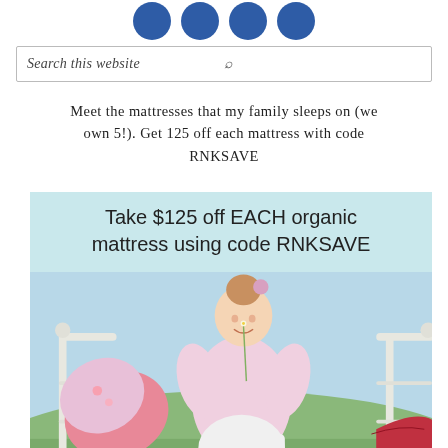[Figure (illustration): Four dark blue circular social media icon buttons arranged horizontally at the top of the page]
[Figure (screenshot): Search bar with italic placeholder text 'Search this website' and a magnifying glass icon on the right, bordered rectangle]
Meet the mattresses that my family sleeps on (we own 5!). Get 125 off each mattress with code RNKSAVE
[Figure (photo): Advertisement banner with light blue/teal background. Top text reads 'Take $125 off EACH organic mattress using code RNKSAVE'. Below is a photo of a young girl in pink pajamas sitting on a white iron bed outdoors, holding a flower to her nose, smiling. Colorful pillows visible. Bottom shows partial 'my green' logo text.]